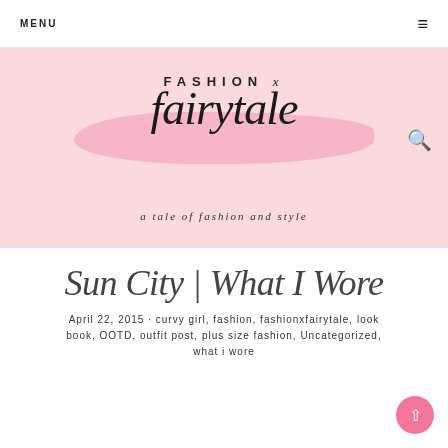MENU
[Figure (logo): Fashion x Fairytale blog logo with pink brush stroke background, cursive fairytale text, and tagline 'a tale of fashion and style']
Sun City | What I Wore
April 22, 2015 · curvy girl, fashion, fashionxfairytale, look book, OOTD, outfit post, plus size fashion, Uncategorized, what i wore